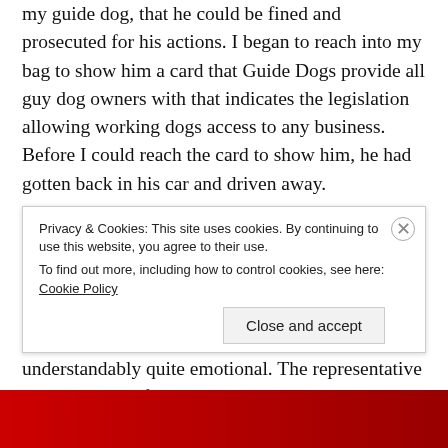my guide dog, that he could be fined and prosecuted for his actions. I began to reach into my bag to show him a card that Guide Dogs provide all guy dog owners with that indicates the legislation allowing working dogs access to any business. Before I could reach the card to show him, he had gotten back in his car and driven away.
Sarah then called Albatross Cars and explained what had happened. I was shaken and she was understandably quite emotional. The representative she spoke with from Albatross Cars assured her that they
Privacy & Cookies: This site uses cookies. By continuing to use this website, you agree to their use.
To find out more, including how to control cookies, see here: Cookie Policy
Close and accept